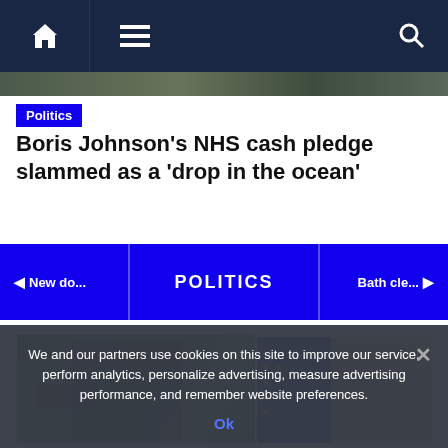[Figure (photo): Dark background news website header image, partially visible]
Home menu icon, hamburger menu icon, search icon navigation bar
Politics
Boris Johnson's NHS cash pledge slammed as a 'drop in the ocean'
◄ New do...   POLITICS   Bath cle... ►
[Figure (photo): Two photos side by side: man in camouflage hat with binoculars among foliage (left); woman in front of EU flag (right)]
We and our partners use cookies on this site to improve our service, perform analytics, personalize advertising, measure advertising performance, and remember website preferences.
Ok